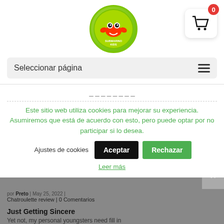[Figure (logo): Circular green logo with crab illustration and text 'Submarino Kids']
[Figure (illustration): Shopping cart icon with red badge showing '0']
Seleccionar página
Uso de cookies
Este sitio web utiliza cookies para mejorar su experiencia. Asumiremos que está de acuerdo con esto, pero puede optar por no participar si lo desea.
Ajustes de cookies
Aceptar
Rechazar
Leer más
Chatroulette review | 0 Comentarios
Just Getting Sincere
Yet not, my personal youngsters need fill in